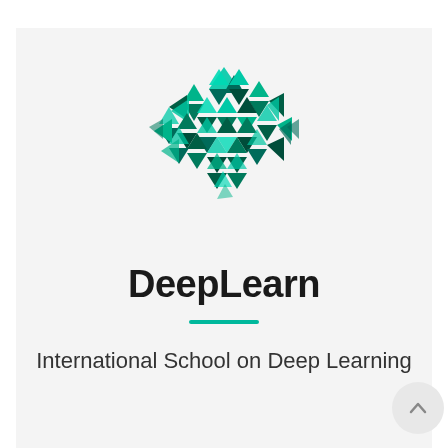[Figure (logo): DeepLearn logo: a 3D cube-like shape assembled from many small teal and dark green triangles arranged in a hexagonal/diamond pattern]
DeepLearn
International School on Deep Learning